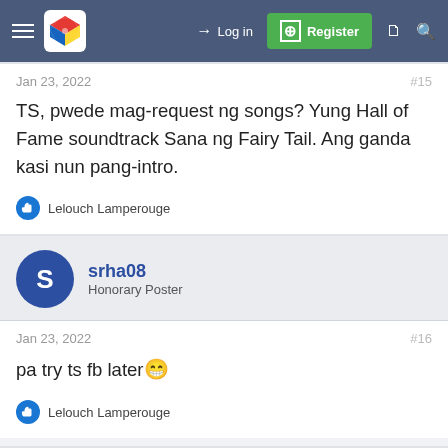Log in | Register
Jan 23, 2022  #15
TS, pwede mag-request ng songs? Yung Hall of Fame soundtrack Sana ng Fairy Tail. Ang ganda kasi nun pang-intro.
👍 Lelouch Lamperouge
srha08 – Honorary Poster
Jan 23, 2022  #16
pa try ts fb later 😁
👍 Lelouch Lamperouge